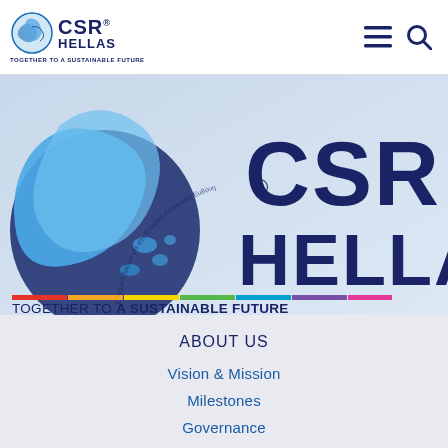[Figure (logo): CSR Hellas logo with globe icon and tagline 'Together to a Sustainable Future']
[Figure (illustration): CSR Hellas hero banner showing a blue globe with Greece map overlay, large CSR HELLAS text, colorful stripe, and tagline TOGETHER TO A SUSTAINABLE FUTURE]
ABOUT US
Vision & Mission
Milestones
Governance
Global Presence